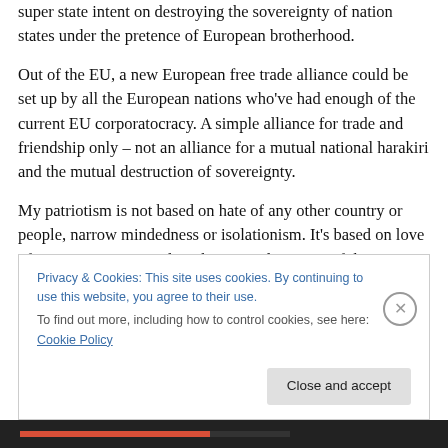super state intent on destroying the sovereignty of nation states under the pretence of European brotherhood.
Out of the EU, a new European free trade alliance could be set up by all the European nations who've had enough of the current EU corporatocracy. A simple alliance for trade and friendship only – not an alliance for a mutual national harakiri and the mutual destruction of sovereignty.
My patriotism is not based on hate of any other country or people, narrow mindedness or isolationism. It's based on love of my own country and on the rational concept of the
Privacy & Cookies: This site uses cookies. By continuing to use this website, you agree to their use.
To find out more, including how to control cookies, see here: Cookie Policy